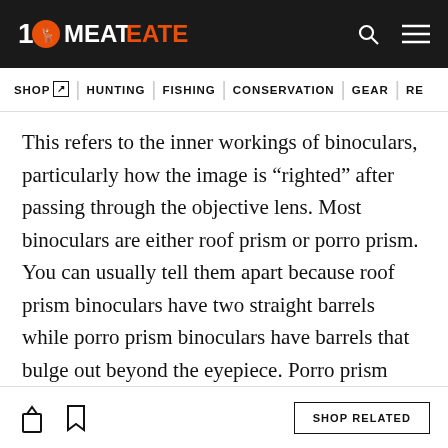MeatEater
SHOP | HUNTING | FISHING | CONSERVATION | GEAR | RE
This refers to the inner workings of binoculars, particularly how the image is “righted” after passing through the objective lens. Most binoculars are either roof prism or porro prism. You can usually tell them apart because roof prism binoculars have two straight barrels while porro prism binoculars have barrels that bulge out beyond the eyepiece. Porro prism binoculars look more old-school; that’s what your granddaddy had.
SHOP RELATED